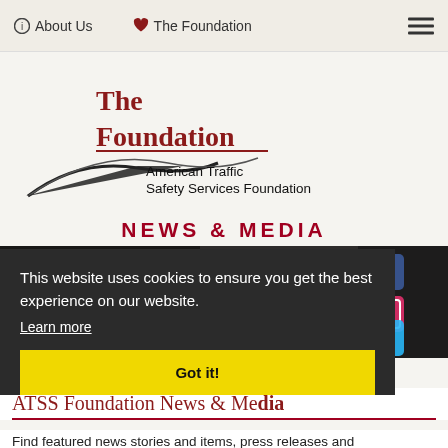About Us   The Foundation
[Figure (logo): The Foundation - American Traffic Safety Services Foundation logo with road graphic]
NEWS & MEDIA
[Figure (photo): Darkened photo of smartphones/mobile devices showing social media apps]
This website uses cookies to ensure you get the best experience on our website. Learn more
Got it!
ATSS Foundation News & Media
Find featured news stories and items, press releases and